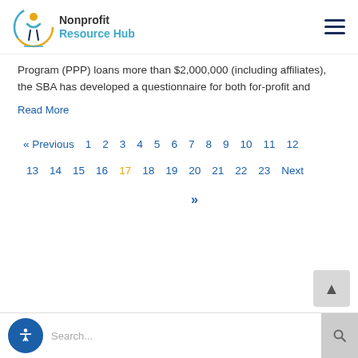Nonprofit Resource Hub
Program (PPP) loans more than $2,000,000 (including affiliates), the SBA has developed a questionnaire for both for-profit and
Read More
« Previous  1  2  3  4  5  6  7  8  9  10  11  12
13  14  15  16  17  18  19  20  21  22  23  Next
»
Search...